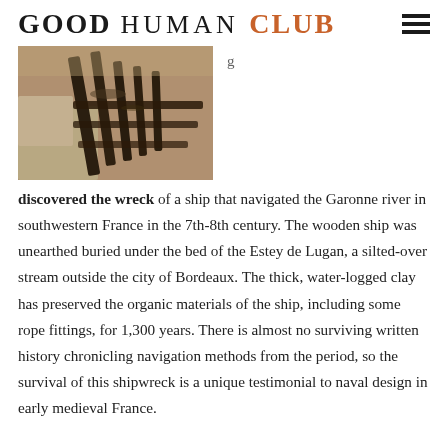GOOD HUMAN CLUB
[Figure (photo): Archaeological photo of a wooden ship wreck partially excavated from clay/soil, showing dark wooden timbers and structural elements embedded in sediment.]
discovered the wreck of a ship that navigated the Garonne river in southwestern France in the 7th-8th century. The wooden ship was unearthed buried under the bed of the Estey de Lugan, a silted-over stream outside the city of Bordeaux. The thick, water-logged clay has preserved the organic materials of the ship, including some rope fittings, for 1,300 years. There is almost no surviving written history chronicling navigation methods from the period, so the survival of this shipwreck is a unique testimonial to naval design in early medieval France.